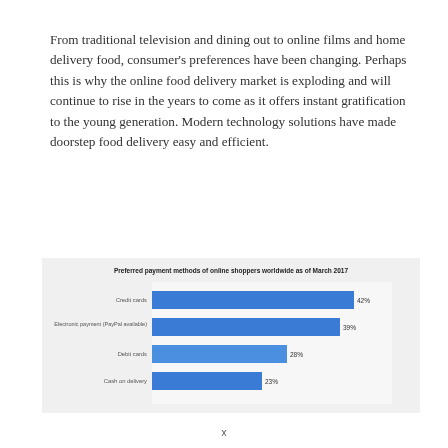From traditional television and dining out to online films and home delivery food, consumer's preferences have been changing. Perhaps this is why the online food delivery market is exploding and will continue to rise in the years to come as it offers instant gratification to the young generation. Modern technology solutions have made doorstep food delivery easy and efficient.
[Figure (bar-chart): Preferred payment methods of online shoppers worldwide as of March 2017]
x